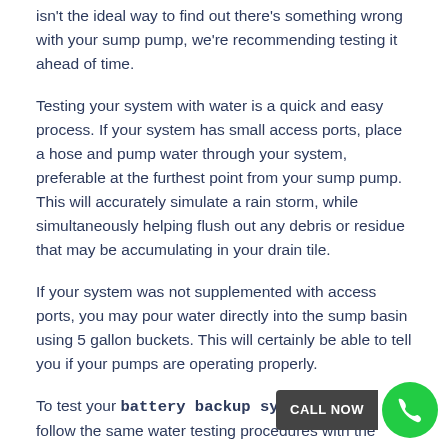isn't the ideal way to find out there's something wrong with your sump pump, we're recommending testing it ahead of time.
Testing your system with water is a quick and easy process. If your system has small access ports, place a hose and pump water through your system, preferable at the furthest point from your sump pump. This will accurately simulate a rain storm, while simultaneously helping flush out any debris or residue that may be accumulating in your drain tile.
If your system was not supplemented with access ports, you may pour water directly into the sump basin using 5 gallon buckets. This will certainly be able to tell you if your pumps are operating properly.
To test your battery backup system, simply follow the same water testing procedures with the primary sump pump unplugged. If you don't have a battery backup system, we recommend you consider one. A battery backup is the best to ensure you're protected in the event of a primary pump